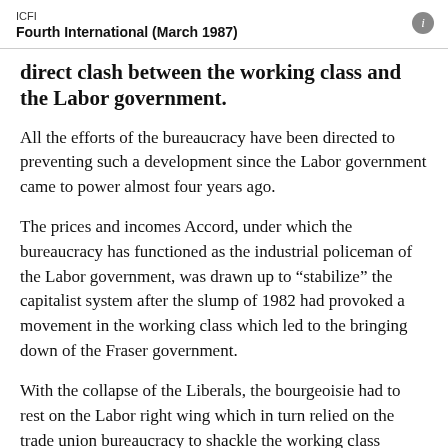ICFI
Fourth International (March 1987)
direct clash between the working class and the Labor government.
All the efforts of the bureaucracy have been directed to preventing such a development since the Labor government came to power almost four years ago.
The prices and incomes Accord, under which the bureaucracy has functioned as the industrial policeman of the Labor government, was drawn up to “stabilize” the capitalist system after the slump of 1982 had provoked a movement in the working class which led to the bringing down of the Fraser government.
With the collapse of the Liberals, the bourgeoisie had to rest on the Labor right wing which in turn relied on the trade union bureaucracy to shackle the working class